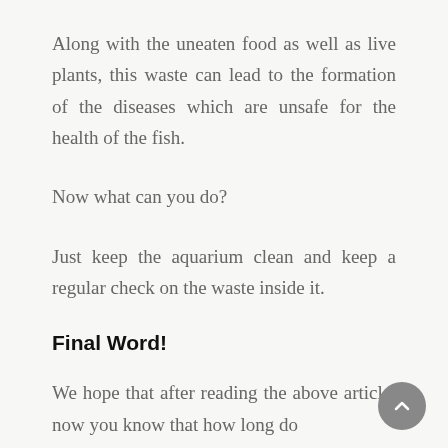Along with the uneaten food as well as live plants, this waste can lead to the formation of the diseases which are unsafe for the health of the fish.
Now what can you do?
Just keep the aquarium clean and keep a regular check on the waste inside it.
Final Word!
We hope that after reading the above article, now you know that how long do...